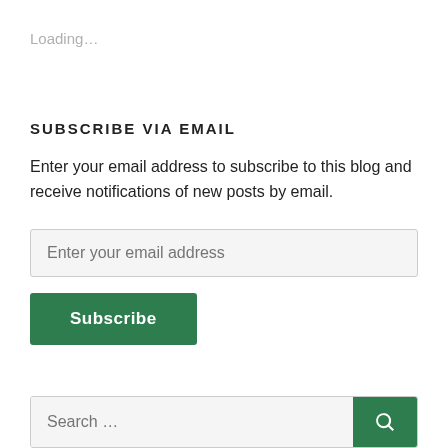Loading…
SUBSCRIBE VIA EMAIL
Enter your email address to subscribe to this blog and receive notifications of new posts by email.
Enter your email address
Subscribe
Search …